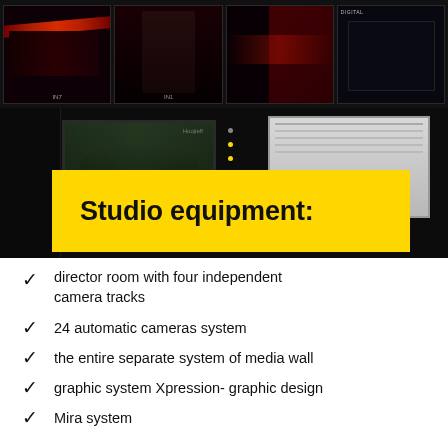[Figure (photo): Control room / broadcast studio with multiple monitor screens showing racing cars, a presenter, and a camera control setup. Top row has four screens: racing car with red graphics labeled IN7, presenter on dark red background, red racing car, and interview/digital content. Below is a control room with a green-screen monitor, yellow dot indicators, and a light-colored side monitor.]
Studio equipment:
director room with four independent camera tracks
24 automatic cameras system
the entire separate system of media wall
graphic system Xpression- graphic design
Mira system